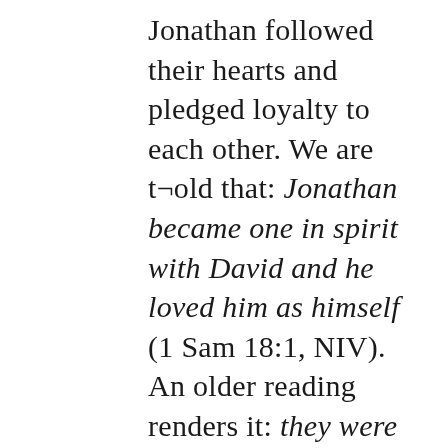Jonathan followed their hearts and pledged loyalty to each other. We are t¬old that: Jonathan became one in spirit with David and he loved him as himself (1 Sam 18:1, NIV). An older reading renders it: they were knitted together in